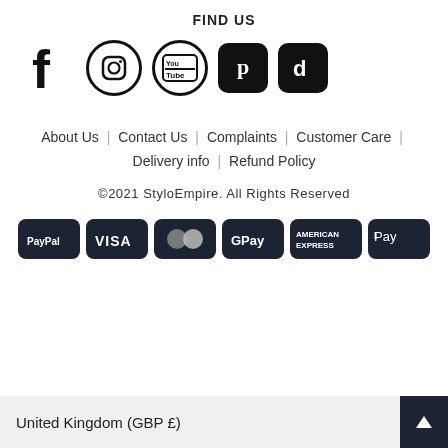FIND US
[Figure (other): Social media icons: Facebook, Instagram, YouTube, Pinterest, TikTok]
About Us  |  Contact Us  |  Complaints  |  Customer Care  |  Delivery info  |  Refund Policy
©2021 StyloEmpire. All Rights Reserved
[Figure (other): Payment method badges: PayPal, VISA, MasterCard, GPay, American Express, Apple Pay]
United Kingdom (GBP £)